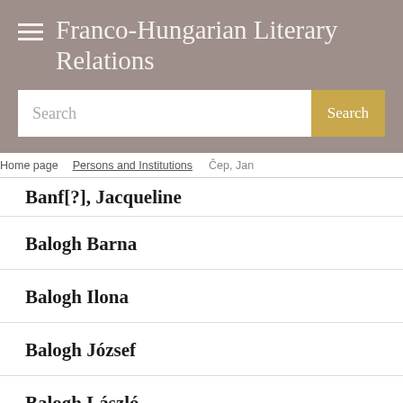Franco-Hungarian Literary Relations
[Figure (screenshot): Search bar with text placeholder 'Search' and a gold 'Search' button on the right]
Home page / Persons and Institutions / Čep, Jan
Banf[?], Jacqueline
Balogh Barna
Balogh Ilona
Balogh József
Balogh László